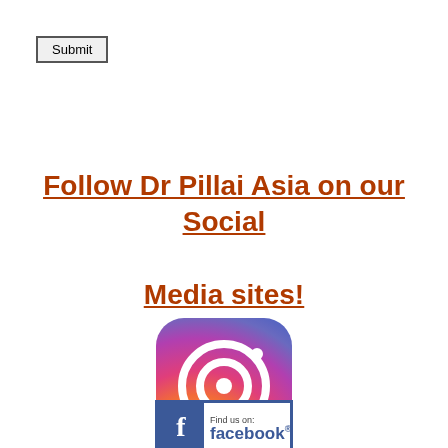Submit
Follow Dr Pillai Asia on our Social Media sites!
[Figure (logo): Instagram logo — rounded square with gradient background (purple to pink to orange) and white camera icon with lens and dot]
[Figure (logo): Find us on Facebook badge — blue Facebook 'f' logo on left, text 'Find us on: facebook.' on right, white background with blue border]